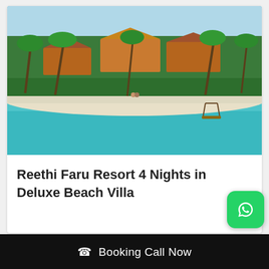[Figure (photo): Aerial view of a tropical beach resort with palm trees, white sandy beach, thatched-roof bungalows, turquoise ocean water, and a swing over the sea]
Reethi Faru Resort 4 Nights in Deluxe Beach Villa
Booking Call Now